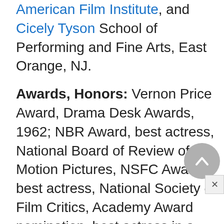American Film Institute, and Cicely Tyson School of Performing and Fine Arts, East Orange, NJ.
Awards, Honors: Vernon Price Award, Drama Desk Awards, 1962; NBR Award, best actress, National Board of Review of Motion Pictures, NSFC Award, best actress, National Society of Film Critics, Academy Award nomination, best actress in a leading role, Golden Globe Award nomination, best motion picture actress—drama, Atlanta Film Festival